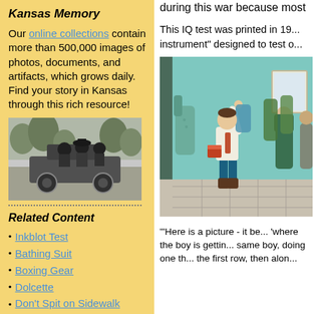Kansas Memory
Our online collections contain more than 500,000 images of photos, documents, and artifacts, which grows daily. Find your story in Kansas through this rich resource!
[Figure (photo): Black and white photograph of people in an early automobile]
Related Content
Inkblot Test
Bathing Suit
Boxing Gear
Dolcette
Don't Spit on Sidewalk Brick
during this war because most
This IQ test was printed in 19... instrument" designed to test o...
[Figure (illustration): Color illustration of a boy in a school hallway hanging up coat, with other students in background]
'Here is a picture - it be... 'where the boy is gettin... same boy, doing one th... the first row, then alon...